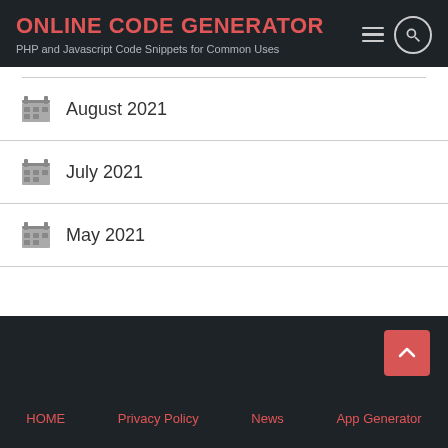ONLINE CODE GENERATOR
PHP and Javascript Code Snippets for Common Uses
August 2021
July 2021
May 2021
HOME  Privacy Policy  News  App Generator